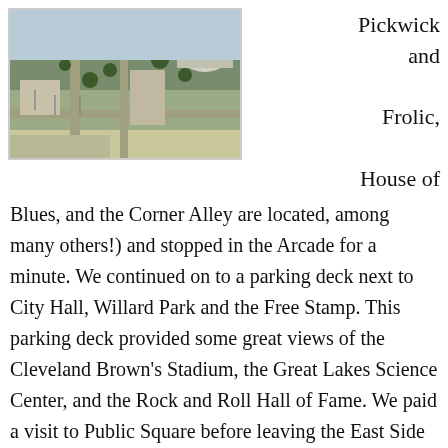[Figure (photo): Aerial view of a city area with roads, parking lots, and buildings including what appears to be a dome structure]
Pickwick and Frolic, House of Blues, and the Corner Alley are located, among many others!) and stopped in the Arcade for a minute. We continued on to a parking deck next to City Hall, Willard Park and the Free Stamp. This parking deck provided some great views of the Cleveland Brown’s Stadium, the Great Lakes Science Center, and the Rock and Roll Hall of Fame. We paid a visit to Public Square before leaving the East Side and saw the Soldiers and Sailors Monument.
Crossing the Veteran’s
[Figure (photo): A building exterior photo, partially visible at bottom right of page]